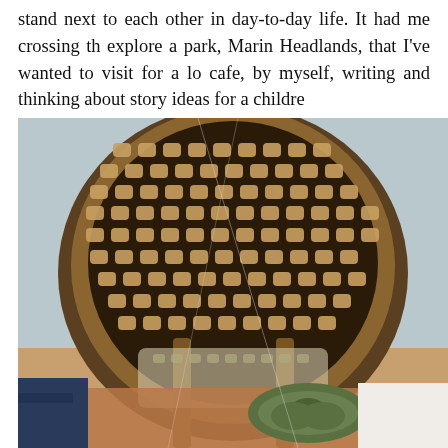stand next to each other in day-to-day life. It had me crossing th explore a park, Marin Headlands, that I've wanted to visit for a lo cafe, by myself, writing and thinking about story ideas for a childre
[Figure (photo): Close-up photo of a wicker/rattan cafe chair with a circular caned back showing a dark woven pattern, shot from a low angle at a cafe table. A green knotted bag or item is visible at the bottom of the frame along with what appears to be a denim jacket on the left.]